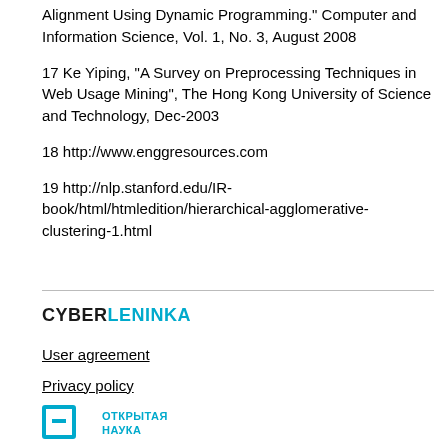Alignment Using Dynamic Programming." Computer and Information Science, Vol. 1, No. 3, August 2008
17 Ke Yiping, "A Survey on Preprocessing Techniques in Web Usage Mining", The Hong Kong University of Science and Technology, Dec-2003
18 http://www.enggresources.com
19 http://nlp.stanford.edu/IR-book/html/htmledition/hierarchical-agglomerative-clustering-1.html
[Figure (logo): CyberLeninka logo with CYBER in black bold uppercase and LENINKA in cyan bold uppercase]
User agreement
Privacy policy
[Figure (logo): Otkrytaya Nauka (Open Science) logo with a square-bracket H icon in cyan and Cyrillic text]